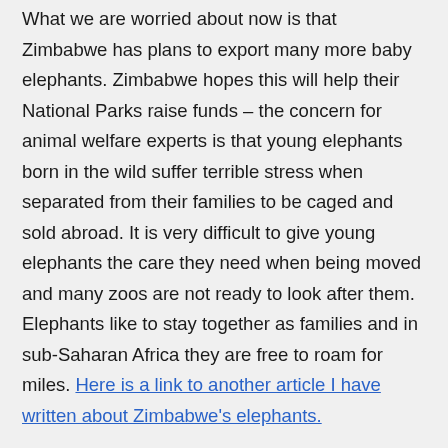What we are worried about now is that Zimbabwe has plans to export many more baby elephants. Zimbabwe hopes this will help their National Parks raise funds – the concern for animal welfare experts is that young elephants born in the wild suffer terrible stress when separated from their families to be caged and sold abroad. It is very difficult to give young elephants the care they need when being moved and many zoos are not ready to look after them. Elephants like to stay together as families and in sub-Saharan Africa they are free to roam for miles. Here is a link to another article I have written about Zimbabwe's elephants.